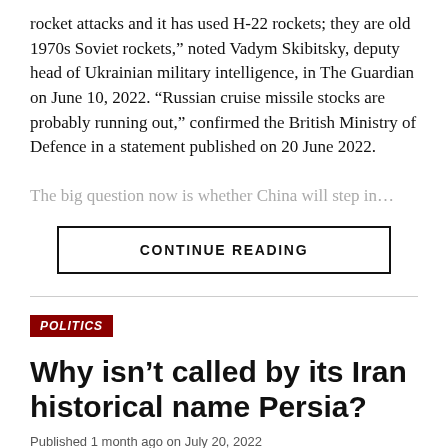rocket attacks and it has used H-22 rockets; they are old 1970s Soviet rockets," noted Vadym Skibitsky, deputy head of Ukrainian military intelligence, in The Guardian on June 10, 2022. "Russian cruise missile stocks are probably running out," confirmed the British Ministry of Defence in a statement published on 20 June 2022.
The big question now is whether China will step in…
CONTINUE READING
POLITICS
Why isn't called by its Iran historical name Persia?
Published 1 month ago on July 20, 2022